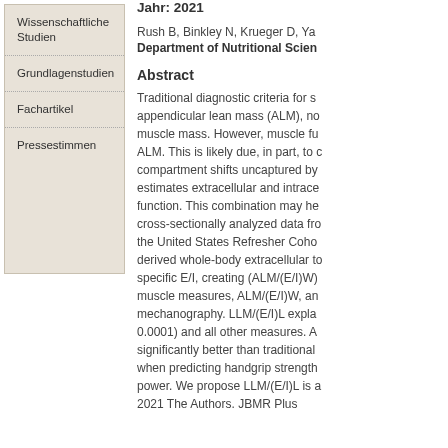Wissenschaftliche Studien
Grundlagenstudien
Fachartikel
Pressestimmen
Jahr: 2021
Rush B, Binkley N, Krueger D, Ya...
Department of Nutritional Scien...
Abstract
Traditional diagnostic criteria for s... appendicular lean mass (ALM), no... muscle mass. However, muscle fu... ALM. This is likely due, in part, to ... compartment shifts uncaptured by... estimates extracellular and intrace... function. This combination may he... cross-sectionally analyzed data fr... the United States Refresher Coho... derived whole-body extracellular t... specific E/I, creating (ALM/(E/I)W)... muscle measures, ALM/(E/I)W, an... mechanography. LLM/(E/I)L expla... 0.0001) and all other measures. A... significantly better than traditional... when predicting handgrip strength... power. We propose LLM/(E/I)L is a... 2021 The Authors. JBMR Plus...